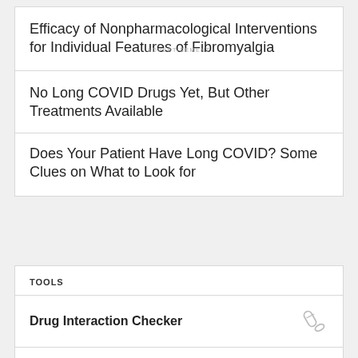Efficacy of Nonpharmacological Interventions for Individual Features of Fibromyalgia
ADVERTISEMENT
No Long COVID Drugs Yet, But Other Treatments Available
Does Your Patient Have Long COVID? Some Clues on What to Look for
TOOLS
Drug Interaction Checker
Pill Identifier